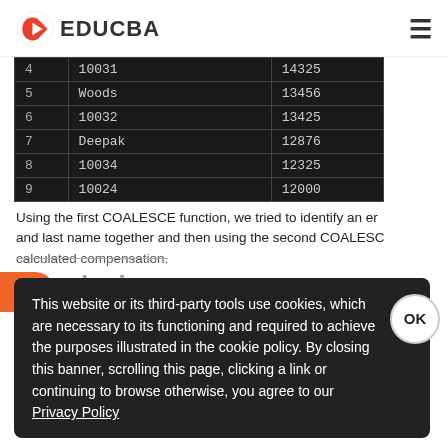EDUCBA
| 4 | 10031 | 14325 |
| 5 | Woods | 13456 |
| 6 | 10032 | 13425 |
| 7 | Deepak | 12876 |
| 8 | 10034 | 12325 |
| 9 | 10024 | 12000 |
Using the first COALESCE function, we tried to identify an er and last name together and then using the second COALESC
calculated compensation.
Conclusion
This website or its third-party tools use cookies, which are necessary to its functioning and required to achieve the purposes illustrated in the cookie policy. By closing this banner, scrolling this page, clicking a link or continuing to browse otherwise, you agree to our Privacy Policy
first non NULL value from an input list of arguments. It is ver